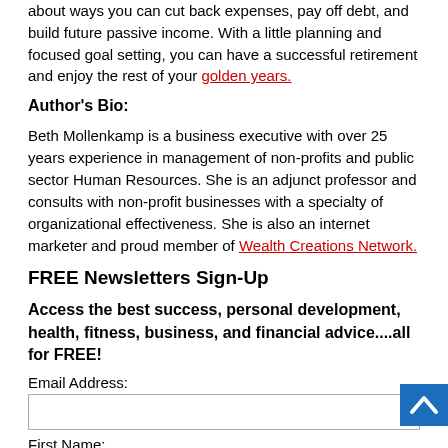about ways you can cut back expenses, pay off debt, and build future passive income. With a little planning and focused goal setting, you can have a successful retirement and enjoy the rest of your golden years.
Author's Bio:
Beth Mollenkamp is a business executive with over 25 years experience in management of non-profits and public sector Human Resources. She is an adjunct professor and consults with non-profit businesses with a specialty of organizational effectiveness. She is also an internet marketer and proud member of Wealth Creations Network.
FREE Newsletters Sign-Up
Access the best success, personal development, health, fitness, business, and financial advice....all for FREE!
Email Address:
First Name:
Last Name: